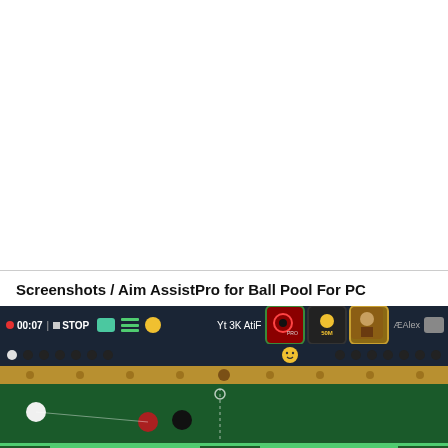Screenshots / Aim AssistPro for Ball Pool For PC
[Figure (screenshot): Screenshot of Aim AssistPro for Ball Pool game app running on PC, showing the 8-ball pool game interface with timer 00:07, STOP button, player name 'Yt 3K AtiF', aim assist pro icon, 50M coins icon, pirate avatar icon, and the green pool table with cue ball and 8-ball.]